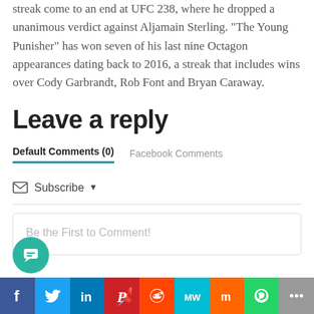Munhoz, meanwhile, saw a three-fight winning streak come to an end at UFC 238, where he dropped a unanimous verdict against Aljamain Sterling. “The Young Punisher” has won seven of his last nine Octagon appearances dating back to 2016, a streak that includes wins over Cody Garbrandt, Rob Font and Bryan Caraway.
Leave a reply
Default Comments (0)	Facebook Comments
✉ Subscribe ▾
Be the First to Comment!